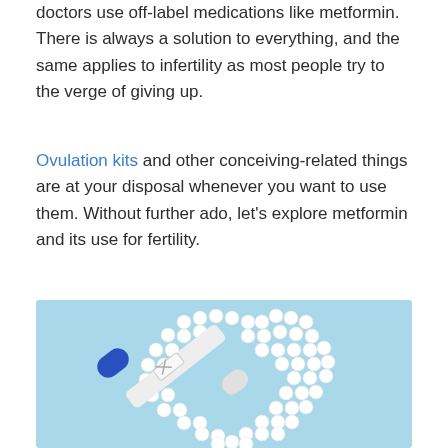doctors use off-label medications like metformin. There is always a solution to everything, and the same applies to infertility as most people try to the verge of giving up.
Ovulation kits and other conceiving-related things are at your disposal whenever you want to use them. Without further ado, let's explore metformin and its use for fertility.
[Figure (photo): A pregnancy test stick with a blue cap lying diagonally across a heart shape made of small white round pills/tablets, all arranged on a light blue background.]